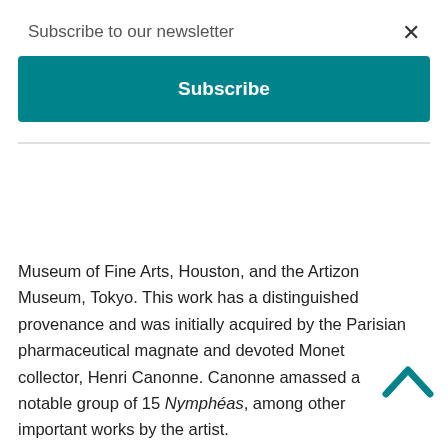Subscribe to our newsletter
Subscribe
Museum of Fine Arts, Houston, and the Artizon Museum, Tokyo. This work has a distinguished provenance and was initially acquired by the Parisian pharmaceutical magnate and devoted Monet collector, Henri Canonne. Canonne amassed a notable group of 15 Nymphéas, among other important works by the artist.
Nymphéas, temps gris was first shown in Monet's exhibition, 'Les Nymphéas: Séries de paysages d'eau', which opened in Paris in May 1909. The 48 canvases, the most works he had ever exhibited in any 20th-century show, were met with rapturous acclaim. This was the first time that the public had seen Monet's art